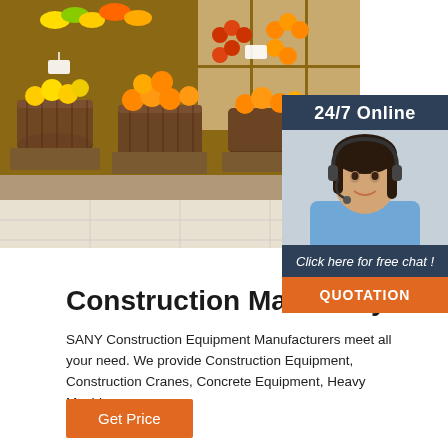[Figure (photo): Fruit and vegetable market display with wicker baskets and wooden crates filled with colorful produce including oranges, bananas, peppers and tomatoes]
[Figure (photo): 24/7 Online chat widget with a smiling female customer service agent wearing a headset, dark blue background, with 'Click here for free chat!' text and an orange QUOTATION button]
Construction Machinery
SANY Construction Equipment Manufacturers meet all your need. We provide Construction Equipment, Construction Cranes, Concrete Equipment, Heavy Machinery so on.
Get Price